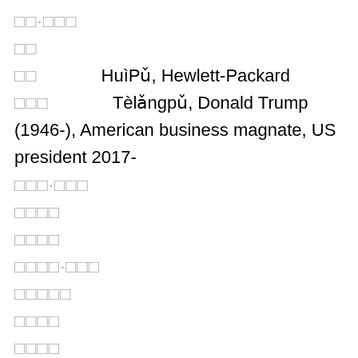□□·□□□
□□
□□       HuìPǔ, Hewlett-Packard
□□□       Tèlǎngpǔ, Donald Trump (1946-), American business magnate, US president 2017-
□□□·□□□
□□□□
□□□□
□□□□·□□□
□□□□□
□□□□
□□□□
□□·□□
□□□
□□
□□
□□·□□